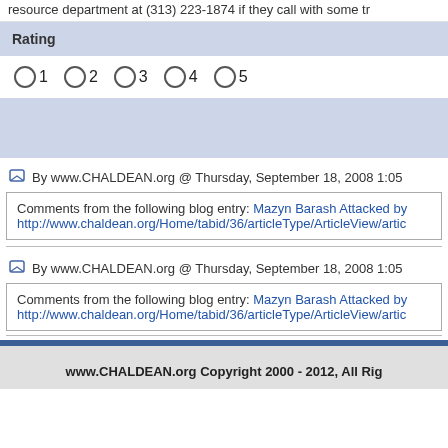resource department at (313) 223-1874 if they call with some tr
Rating
○ 1 ○ 2 ○ 3 ○ 4 ○ 5
By www.CHALDEAN.org @ Thursday, September 18, 2008 1:05
Comments from the following blog entry: Mazyn Barash Attacked by
http://www.chaldean.org/Home/tabid/36/articleType/ArticleView/artic
By www.CHALDEAN.org @ Thursday, September 18, 2008 1:05
Comments from the following blog entry: Mazyn Barash Attacked by
http://www.chaldean.org/Home/tabid/36/articleType/ArticleView/artic
www.CHALDEAN.org Copyright 2000 - 2012, All Rig